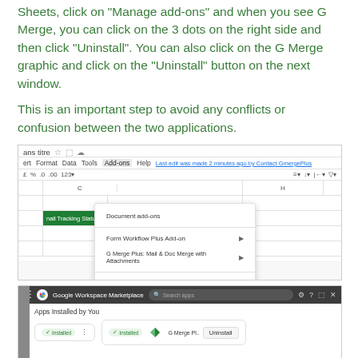Sheets, click on "Manage add-ons" and when you see G Merge, you can click on the 3 dots on the right side and then click "Uninstall". You can also click on the G Merge graphic and click on the "Uninstall" button on the next window.
This is an important step to avoid any conflicts or confusion between the two applications.
[Figure (screenshot): Google Sheets spreadsheet with Add-ons menu open showing options: Document add-ons, Form Workflow Plus Add-on, G Merge Plus: Mail & Doc Merge with Attachments, Get add-ons, Manage add-ons]
[Figure (screenshot): Google Workspace Marketplace browser window showing Apps Installed by You with two installed apps visible, one showing an Uninstall button]